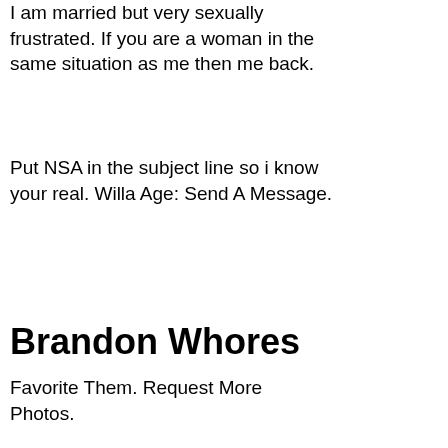I am married but very sexually frustrated. If you are a woman in the same situation as me then me back.
Put NSA in the subject line so i know your real. Willa Age: Send A Message.
Brandon Whores
Favorite Them. Request More Photos.